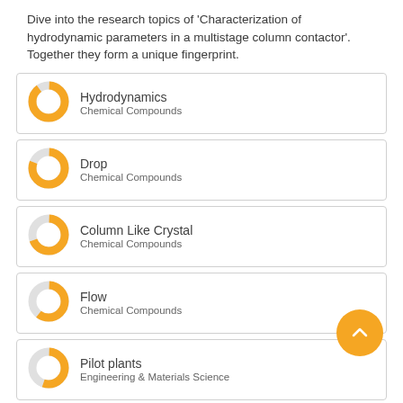Dive into the research topics of 'Characterization of hydrodynamic parameters in a multistage column contactor'. Together they form a unique fingerprint.
Hydrodynamics — Chemical Compounds
Drop — Chemical Compounds
Column Like Crystal — Chemical Compounds
Flow — Chemical Compounds
Pilot plants — Engineering & Materials Science
Size Distribution